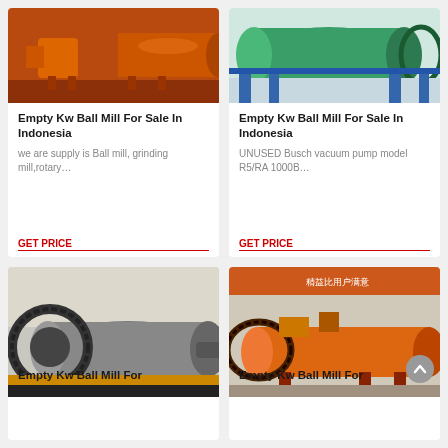[Figure (photo): Orange/red industrial ball mill machine in a factory setting]
Empty Kw Ball Mill For Sale In Indonesia
we are supply is Ball mill, grinding mill,rotary…
GET PRICE
[Figure (photo): Green large industrial ball mill outdoors with blue frame support]
Empty Kw Ball Mill For Sale In Indonesia
UNUSED Busch vacuum pump model R5/RA 1000B…
GET PRICE
[Figure (photo): Gray industrial ball mill with large gear wheel on rail tracks]
Empty Kw Ball Mill For
[Figure (photo): Orange industrial ball mill cylinder outdoors with Chinese signage in background]
Empty Kw Ball Mill For